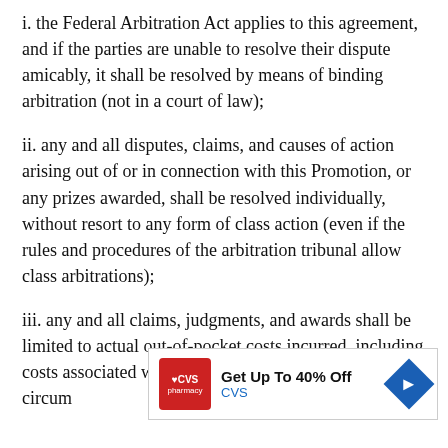i. the Federal Arbitration Act applies to this agreement, and if the parties are unable to resolve their dispute amicably, it shall be resolved by means of binding arbitration (not in a court of law);
ii. any and all disputes, claims, and causes of action arising out of or in connection with this Promotion, or any prizes awarded, shall be resolved individually, without resort to any form of class action (even if the rules and procedures of the arbitration tribunal allow class arbitrations);
iii. any and all claims, judgments, and awards shall be limited to actual out-of-pocket costs incurred, including costs associated with entering this Prom[otion], circum[stances]...
[Figure (other): CVS Pharmacy advertisement banner: Get Up To 40% Off CVS, with red CVS pharmacy logo and blue diamond arrow icon]